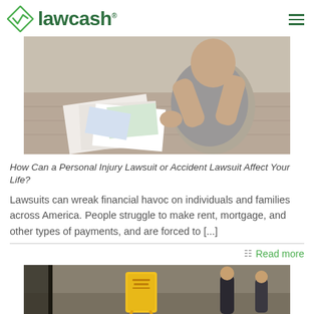lawcash
[Figure (photo): Person sitting on floor surrounded by documents, appearing stressed]
How Can a Personal Injury Lawsuit or Accident Lawsuit Affect Your Life?
Lawsuits can wreak financial havoc on individuals and families across America. People struggle to make rent, mortgage, and other types of payments, and are forced to [...]
Read more
[Figure (photo): Wet floor yellow caution sign in a public area with people in background]